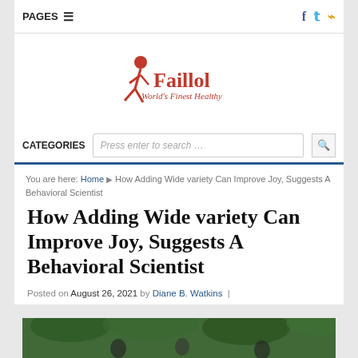PAGES ☰  f  t  RSS
[Figure (logo): Faillol World's Finest Healthy logo with red running figure]
CATEGORIES  Press enter to search …  [search button]
You are here: Home ▶ How Adding Wide variety Can Improve Joy, Suggests A Behavioral Scientist
How Adding Wide variety Can Improve Joy, Suggests A Behavioral Scientist
Posted on August 26, 2021 by Diane B. Watkins  |
[Figure (photo): Outdoor photo with people in a green foliage setting]